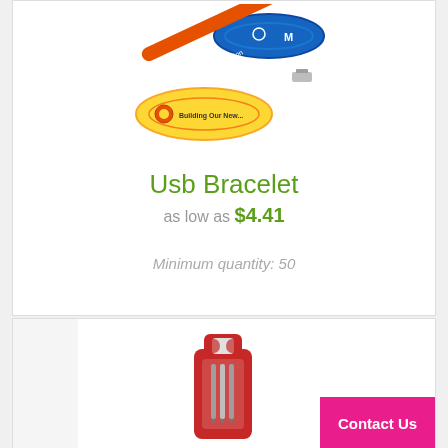[Figure (photo): Three colorful USB bracelets: a blue silicone wristband with Motorola logo, an orange flat USB cable bracelet with Alzheimer's Association branding, and a yellow silicone bracelet with Building Our New text]
Usb Bracelet
as low as $4.41
Minimum quantity: 50
[Figure (photo): A red multi-tool screwdriver set in a red holder with a bottle opener top, containing multiple screwdriver bits]
Contact Us